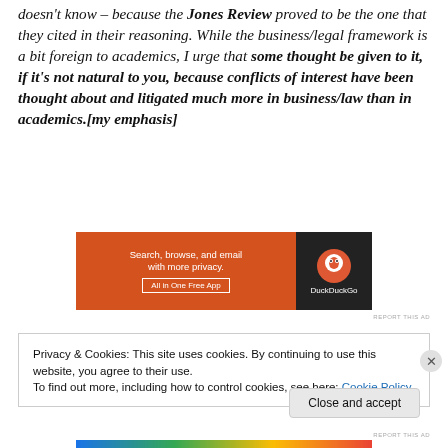doesn't know – because the Jones Review proved to be the one that they cited in their reasoning. While the business/legal framework is a bit foreign to academics, I urge that some thought be given to it, if it's not natural to you, because conflicts of interest have been thought about and litigated much more in business/law than in academics.[my emphasis]
[Figure (screenshot): DuckDuckGo advertisement banner: orange left panel with text 'Search, browse, and email with more privacy. All in One Free App' and dark right panel with DuckDuckGo duck logo and brand name.]
Privacy & Cookies: This site uses cookies. By continuing to use this website, you agree to their use. To find out more, including how to control cookies, see here: Cookie Policy
Close and accept